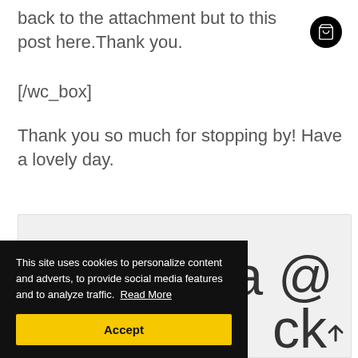back to the attachment but to this post here.Thank you.
[/wc_box]
Thank you so much for stopping by! Have a lovely day.
[Figure (other): Gray content box partially visible, showing large text characters 'a @' and 'ck']
This site uses cookies to personalize content and adverts, to provide social media features and to analyze traffic. Read More
Accept